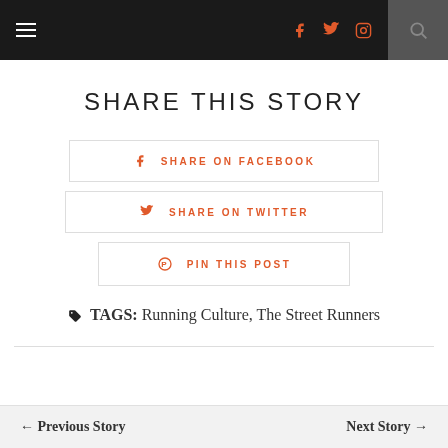Navigation bar with hamburger menu, social icons (Facebook, Twitter, Instagram), and search
SHARE THIS STORY
SHARE ON FACEBOOK
SHARE ON TWITTER
PIN THIS POST
TAGS: Running Culture, The Street Runners
← Previous Story   Next Story →